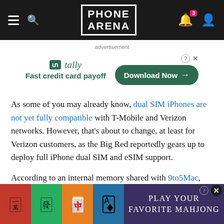PHONE ARENA
advertisement
[Figure (other): Tally advertisement banner with 'Fast credit card payoff' tagline and 'Download Now' button]
As some of you may already know, dual SIM iPhones are not yet fully compatible with T-Mobile and Verizon networks. However, that's about to change, at least for Verizon customers, as the Big Red reportedly gears up to deploy full iPhone dual SIM and eSIM support.
According to an internal memory shared with 9to5Mac, Verizon will most li
[Figure (other): Mahjong game advertisement banner at the bottom with colorful tiles and 'Play Your Favorite Mahjong' text]